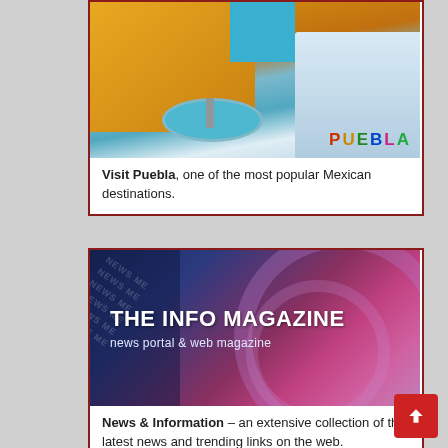[Figure (photo): Photo of Puebla, Mexico town square with yellow colonial buildings, a large stone fountain with blue water in the foreground, and white arched buildings on the right. Colorful PUEBLA letters visible in background.]
Visit Puebla, one of the most popular Mexican destinations.
[Figure (photo): Banner image for The Info Magazine showing dark blue and pink abstract swirling background. Text reads 'THE INFO MAGAZINE' in large white bold letters and 'news portal & web magazine' below.]
News & Information – an extensive collection of the latest news and trending links on the web.